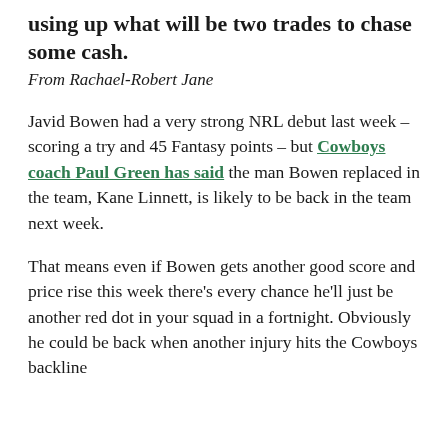using up what will be two trades to chase some cash.
From Rachael-Robert Jane
Javid Bowen had a very strong NRL debut last week – scoring a try and 45 Fantasy points – but Cowboys coach Paul Green has said the man Bowen replaced in the team, Kane Linnett, is likely to be back in the team next week.
That means even if Bowen gets another good score and price rise this week there's every chance he'll just be another red dot in your squad in a fortnight. Obviously he could be back when another injury hits the Cowboys backline